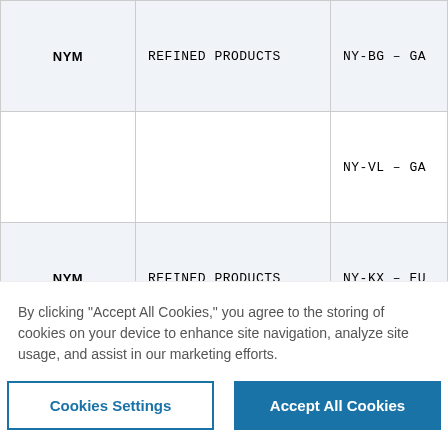| Exchange | Type | Code |
| --- | --- | --- |
| NYM | REFINED PRODUCTS | NY-BG – GA |
|  |  | NY-VL – GA |
| NYM | REFINED PRODUCTS | NY-KX – EU |
|  |  | NY-UF – EU |
| NYM | REFINED PRODUCTS | NY-R5B – E |
By clicking "Accept All Cookies," you agree to the storing of cookies on your device to enhance site navigation, analyze site usage, and assist in our marketing efforts.